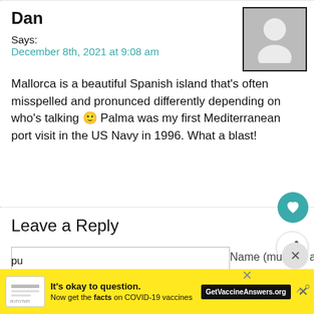Dan
Says:
December 8th, 2021 at 9:08 am
Mallorca is a beautiful Spanish island that's often misspelled and pronunced differently depending on who's talking 🙂 Palma was my first Mediterranean port visit in the US Navy in 1996. What a blast!
Leave a Reply
Name (must be a real name) (required)
Mail (will not be published) (required)
WHAT'S NEXT → Mallorca Tours: Fun...
It's okay to question. Now get the facts on COVID-19 vaccines GetVaccineAnswers.org